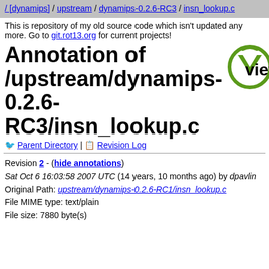/ [dynamips] / upstream / dynamips-0.2.6-RC3 / insn_lookup.c
This is repository of my old source code which isn't updated any more. Go to git.rot13.org for current projects!
Annotation of /upstream/dynamips-0.2.6-RC3/insn_lookup.c
[Figure (logo): ViewVC logo: green circular arrow with V symbol and 'viewvc' text in bold black]
Parent Directory | Revision Log
Revision 2 - (hide annotations)
Sat Oct 6 16:03:58 2007 UTC (14 years, 10 months ago) by dpavlin
Original Path: upstream/dynamips-0.2.6-RC1/insn_lookup.c
File MIME type: text/plain
File size: 7880 byte(s)